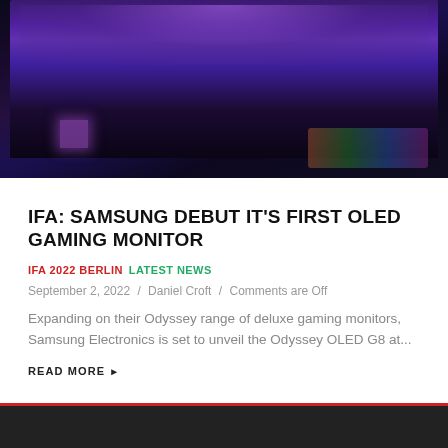[Figure (photo): Dark gaming setup with a curved monitor displaying a purple/violet fantasy game scene, RGB keyboard with multicolor lighting, and a purple glowing desk accessory in a dark room.]
IFA: SAMSUNG DEBUT IT'S FIRST OLED GAMING MONITOR
IFA 2022 BERLIN  LATEST NEWS
September 2, 2022 / Daniel Croft / Comments are Off
Expanding on their Odyssey range of deluxe gaming monitors, Samsung Electronics is set to unveil the Odyssey OLED G8 at...
READ MORE ▶